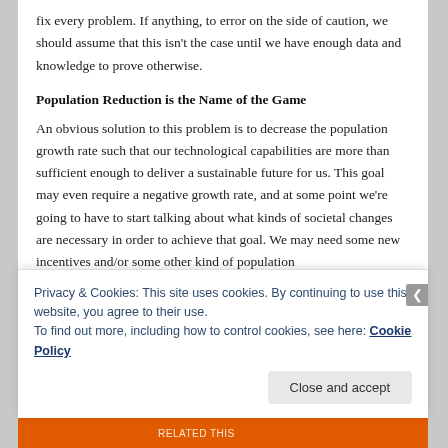fix every problem. If anything, to error on the side of caution, we should assume that this isn't the case until we have enough data and knowledge to prove otherwise.
Population Reduction is the Name of the Game
An obvious solution to this problem is to decrease the population growth rate such that our technological capabilities are more than sufficient enough to deliver a sustainable future for us. This goal may even require a negative growth rate, and at some point we're going to have to start talking about what kinds of societal changes are necessary in order to achieve that goal. We may need some new incentives and/or some other kind of population
Privacy & Cookies: This site uses cookies. By continuing to use this website, you agree to their use.
To find out more, including how to control cookies, see here: Cookie Policy